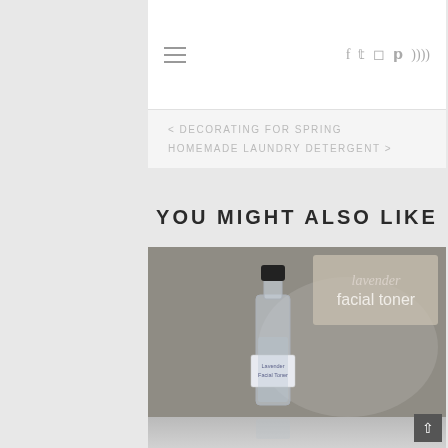≡   f  twitter  instagram  pinterest  rss
< DECORATING FOR SPRING
HOMEMADE LAUNDRY DETERGENT >
YOU MIGHT ALSO LIKE
[Figure (photo): A small clear glass bottle with a black cap and a white label reading 'Lavender Facial Toner', placed on a gray fabric background. In the upper right corner, a decorative text overlay reads 'lavender facial toner' in script and serif font on a light beige/tan background patch.]